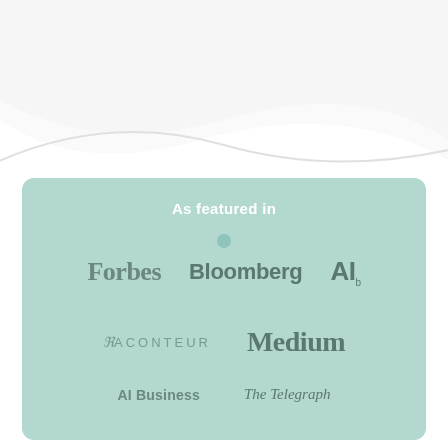[Figure (illustration): White wave decorative background element at top of page on white background]
As featured in
[Figure (logo): Forbes logo in serif bold font]
[Figure (logo): Bloomberg logo in bold sans-serif font]
[Figure (logo): AI. logo in bold sans-serif font with period subscript]
[Figure (logo): Raconteur logo in spaced uppercase letters with R prefix styling]
[Figure (logo): Medium logo in serif bold font]
[Figure (logo): AI Business logo in bold sans-serif font]
[Figure (logo): The Telegraph logo in italic serif font]